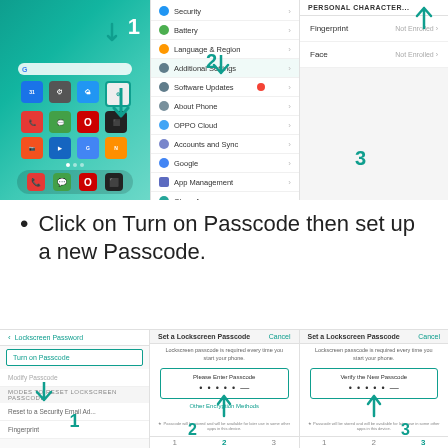[Figure (screenshot): Three smartphone screenshots showing: 1) OPPO phone home screen with teal background and app icons, arrow pointing to Settings app with number 1; 2) Settings menu list showing Security, Battery, Language & Region, Additional Settings, Software Updates, About Phone, OPPO Cloud, Accounts and Sync, Google, App Management, Clone Apps - with number 2; 3) Security settings showing Fingerprint and Face options with number 3]
Click on Turn on Passcode then set up a new Passcode.
[Figure (screenshot): Three smartphone screenshots showing the steps to set a lockscreen passcode: 1) Lockscreen Password screen with 'Turn on Passcode' highlighted in teal border and arrow pointing to it, number 1; 2) 'Set a Lockscreen Passcode' screen with 'Please Enter Passcode' box showing dot entry fields, number 2; 3) 'Set a Lockscreen Passcode' screen with 'Verify the New Passcode' box showing dot entry fields, number 3]